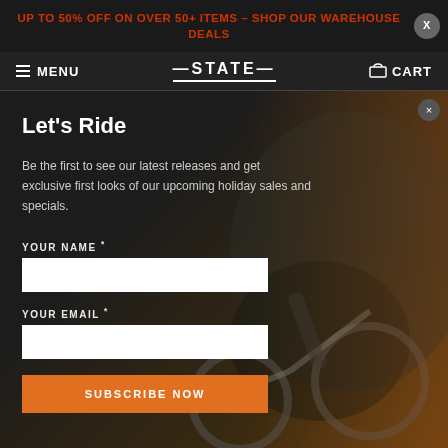UP TO 50% OFF ON OVER 50+ ITEMS – SHOP OUR WAREHOUSE DEALS
≡ MENU   STATE   🛒 CART
Let's Ride
Be the first to see our latest releases and get exclusive first looks of our upcoming holiday sales and specials.
YOUR NAME
YOUR EMAIL
SUBSCRIBE NOW
keeping this frame for a very long time.
2